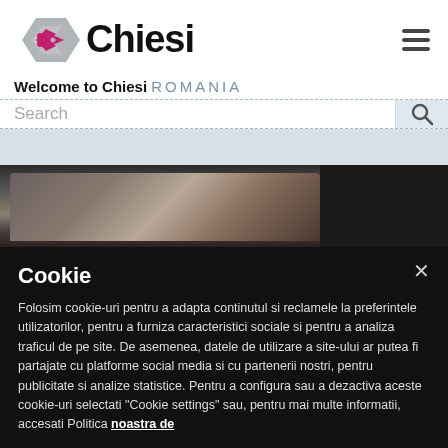[Figure (logo): Chiesi company logo with arrow/hexagon icon in grey and pink/red]
Welcome to Chiesi ROMANIA
Search
[Figure (photo): Close-up photo of a hand pressing buttons on a dark device/keyboard, with dark background on the right side]
Cookie
Folosim cookie-uri pentru a adapta continutul si reclamele la preferintele utilizatorilor, pentru a furniza caracteristici sociale si pentru a analiza traficul de pe site. De asemenea, datele de utilizare a site-ului ar putea fi partajate cu platforme social media si cu partenerii nostri, pentru publicitate si analize statistice. Pentru a configura sau a dezactiva aceste cookie-uri selectati "Cookie settings" sau, pentru mai multe informatii, accesati Politica noastra de